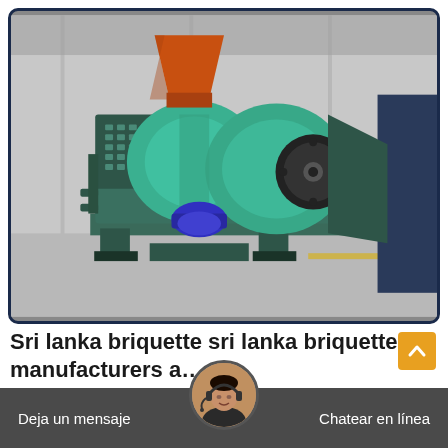[Figure (photo): Industrial briquette press / roller press machine painted in teal/green color with orange hopper, sitting on a steel frame in a factory/warehouse setting. The machine has large cylindrical rollers and a blue motor visible underneath.]
Sri lanka briquette sri lanka briquette manufacturers a…
sri lanka briquette, sri lanka briquette suppliers
Deja un mensaje
Chatear en línea